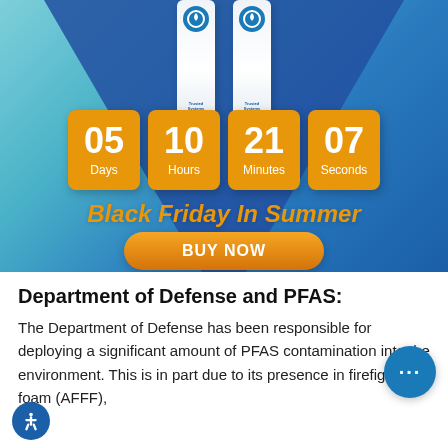[Figure (infographic): Promotional countdown timer banner with two water filter products on a blue gradient background with a dark blue triangle. Countdown shows 05 Days, 10 Hours, 21 Minutes, 07 Seconds in orange boxes. Text reads 'Black Friday In Summer' with a 'BUY NOW' orange button.]
Department of Defense and PFAS:
The Department of Defense has been responsible for deploying a significant amount of PFAS contamination into the environment. This is in part due to its presence in firefighting foam (AFFF),